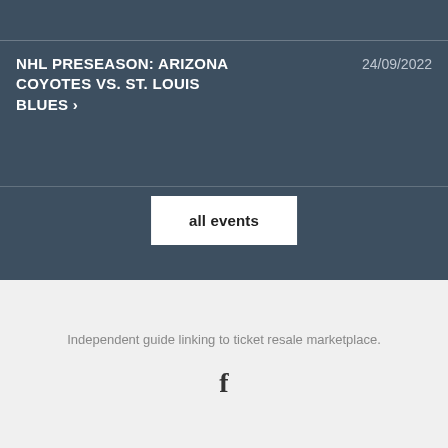NHL PRESEASON: ARIZONA COYOTES VS. ST. LOUIS BLUES ›
24/09/2022
all events
Independent guide linking to ticket resale marketplace.
[Figure (logo): Facebook logo icon (f)]